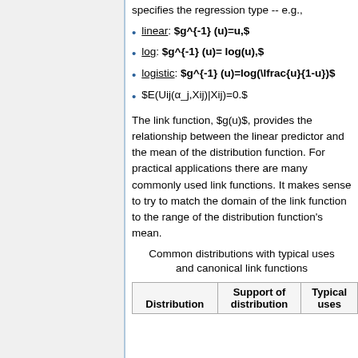specifies the regression type -- e.g.,
linear: $g^{-1} (u)=u,$
log: $g^{-1} (u)= log(u),$
logistic: $g^{-1} (u)=log(\frac{u}{1-u})$
$E(Uij(α_j,Xij)|Xij)=0.$
The link function, $g(u)$, provides the relationship between the linear predictor and the mean of the distribution function. For practical applications there are many commonly used link functions. It makes sense to try to match the domain of the link function to the range of the distribution function's mean.
Common distributions with typical uses and canonical link functions
| Distribution | Support of distribution | Typical uses |
| --- | --- | --- |